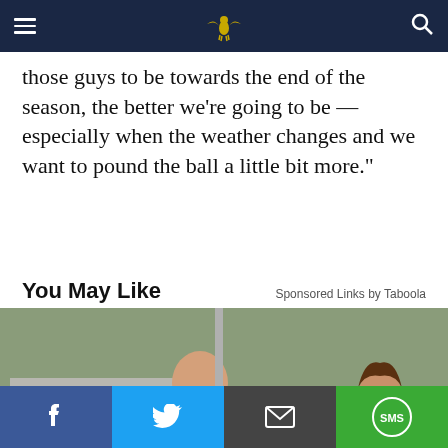[Navigation bar with hamburger menu, site logo, and search icon]
those guys to be towards the end of the season, the better we’re going to be — especially when the weather changes and we want to pound the ball a little bit more.”
You May Like
Sponsored Links by Taboola
[Figure (photo): Two people at a tailgate party, one holding food over a white plate, the other holding a red cup; trucks and outdoor scenery in background]
What Your Tailgate Is Missing
Ooni Pizza Ovens | Sponsored
Facebook share | Twitter share | Email share | SMS share